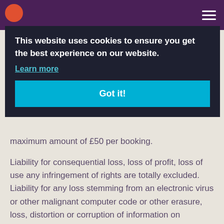[Figure (screenshot): Cookie consent overlay with dark background showing text 'This website uses cookies to ensure you get the best experience on our website.' with 'Learn more' link and 'Got it!' button in cyan/teal color]
maximum amount of £50 per booking.
Liability for consequential loss, loss of profit, loss of use any infringement of rights are totally excluded. Liability for any loss stemming from an electronic virus or other malignant computer code or other erasure, loss, distortion or corruption of information on computer systems is excluded in total.
At not time do we make any warranty or representation